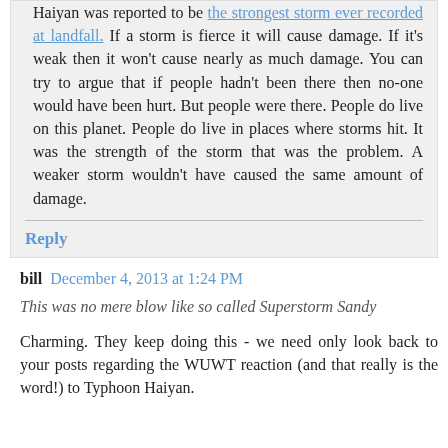Haiyan was reported to be the strongest storm ever recorded at landfall. If a storm is fierce it will cause damage. If it's weak then it won't cause nearly as much damage. You can try to argue that if people hadn't been there then no-one would have been hurt. But people were there. People do live on this planet. People do live in places where storms hit. It was the strength of the storm that was the problem. A weaker storm wouldn't have caused the same amount of damage.
Reply
bill  December 4, 2013 at 1:24 PM
This was no mere blow like so called Superstorm Sandy
Charming. They keep doing this - we need only look back to your posts regarding the WUWT reaction (and that really is the word!) to Typhoon Haiyan.